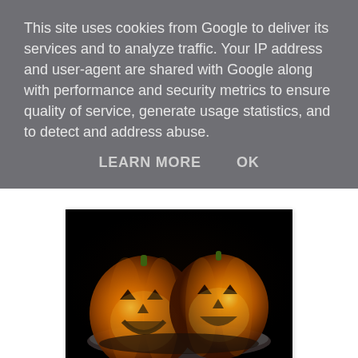This site uses cookies from Google to deliver its services and to analyze traffic. Your IP address and user-agent are shared with Google along with performance and security metrics to ensure quality of service, generate usage statistics, and to detect and address abuse.
LEARN MORE   OK
[Figure (photo): Two glowing jack-o-lantern pumpkins with carved faces, sitting in a bowl/plate on a dark background, lit from within with orange light.]
The pumpkins you see here are not the ones we grew in our garden. We did grow three lovely pumpkins and were planning to carve them this evening but we visited the zoo today and they had a pumpkin carving activity. So we joined in the fun and carved these two great faces between visiting the zebras and the spiders. The pumpkins we grew in our garden will now be used for pumpkin soup unless I get the urge to carve some additional pumpkins tomorrow afternoon